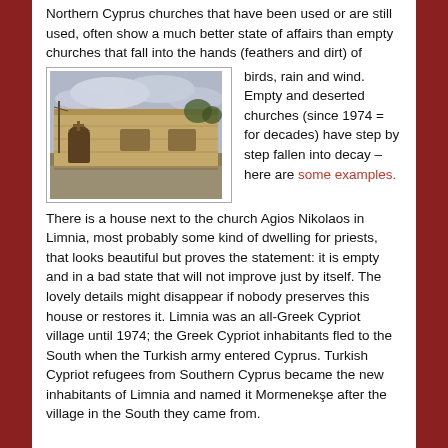Northern Cyprus churches that have been used or are still used, often show a much better state of affairs than empty churches that fall into the hands (feathers and dirt) of
[Figure (photo): Photograph of an old stone building, likely a church or attached house in Cyprus, with arched doorways and windows, under a cloudy sky.]
birds, rain and wind. Empty and deserted churches (since 1974 = for decades) have step by step fallen into decay – here are some examples. There is a house next to the church Agios Nikolaos in Limnia, most probably some kind of dwelling for priests, that looks beautiful but proves the statement: it is empty and in a bad state that will not improve just by itself. The lovely details might disappear if nobody preserves this house or restores it. Limnia was an all-Greek Cypriot village until 1974; the Greek Cypriot inhabitants fled to the South when the Turkish army entered Cyprus. Turkish Cypriot refugees from Southern Cyprus became the new inhabitants of Limnia and named it Mormenekşe after the village in the South they came from.